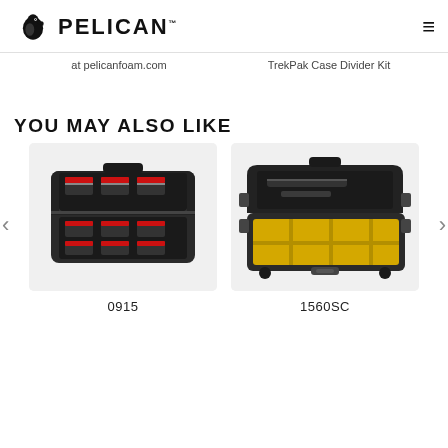PELICAN
at pelicanfoam.com
TrekPak Case Divider Kit
YOU MAY ALSO LIKE
[Figure (photo): Pelican 0915 small memory card case open, showing foam interior with red-labeled SD cards organized in slots]
0915
[Figure (photo): Pelican 1560SC case open at an angle showing yellow padded dividers inside and a lid organizer panel]
1560SC